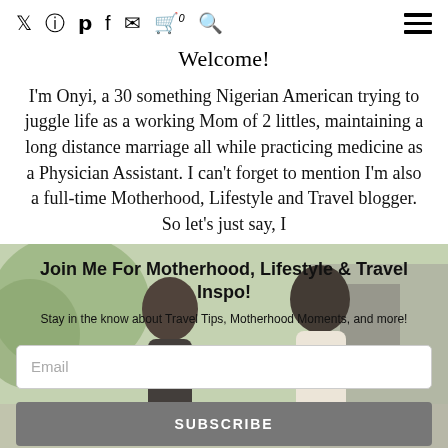Twitter Instagram Pinterest Facebook Email Cart 0 Search | Menu
Welcome!
I'm Onyi, a 30 something Nigerian American trying to juggle life as a working Mom of 2 littles, maintaining a long distance marriage all while practicing medicine as a Physician Assistant. I can't forget to mention I'm also a full-time Motherhood, Lifestyle and Travel blogger. So let's just say, I
[Figure (photo): Background photo of a family (man, woman, and baby) outdoors with greenery, overlaid with newsletter signup form text and input fields.]
Join Me For Motherhood, Lifestyle & Travel Inspo!
Stay in the know about Travel Tips, Motherhood Moments, and more!
Email
SUBSCRIBE